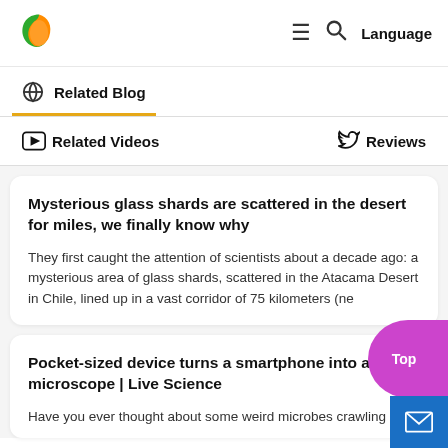Logo | ≡ 🔍 Language
🌐 Related Blog
▶ Related Videos   Reviews
Mysterious glass shards are scattered in the desert for miles, we finally know why
They first caught the attention of scientists about a decade ago: a mysterious area of glass shards, scattered in the Atacama Desert in Chile, lined up in a vast corridor of 75 kilometers (ne
Pocket-sized device turns a smartphone into a power microscope | Live Science
Have you ever thought about some weird microbes crawling